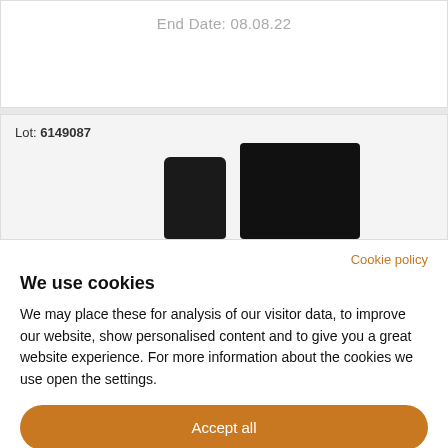End Date: 08.08.22
Lot: 6149087
[Figure (photo): Two black objects: a cylindrical bottle/container and a rectangular box, shown against a light grey background.]
Cookie policy
We use cookies
We may place these for analysis of our visitor data, to improve our website, show personalised content and to give you a great website experience. For more information about the cookies we use open the settings.
Accept all
Deny
No, adjust